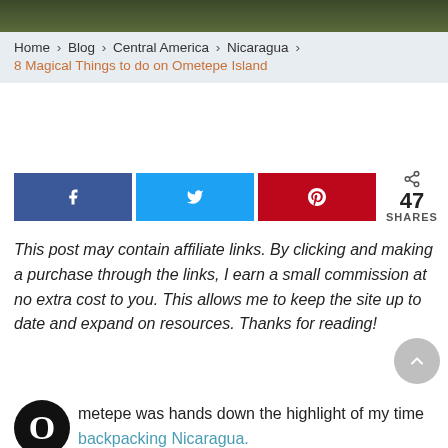[Figure (photo): Dark green foliage/nature photo at top of page]
Home > Blog > Central America > Nicaragua > 8 Magical Things to do on Ometepe Island
[Figure (infographic): Social share buttons: Facebook, Twitter, Pinterest with 47 SHARES count]
This post may contain affiliate links. By clicking and making a purchase through the links, I earn a small commission at no extra cost to you. This allows me to keep the site up to date and expand on resources. Thanks for reading!
Ometepe was hands down the highlight of my time backpacking Nicaragua.